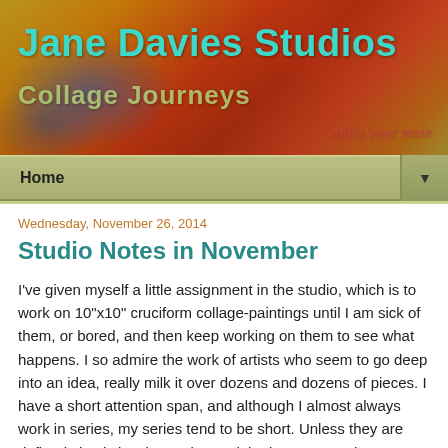[Figure (illustration): Jane Davies Studios blog banner with colorful abstract painting background (orange, red, yellow, blue tones). Title 'Jane Davies Studios' in teal/cyan bold text, subtitle 'Collage Journeys' in muted green, tagline 'entice your muse' in red italic at bottom right.]
Home ▼
Wednesday, November 26, 2014
Studio Notes in November
I've given myself a little assignment in the studio, which is to work on 10"x10" cruciform collage-paintings until I am sick of them, or bored, and then keep working on them to see what happens.  I so admire the work of artists who seem to go deep into an idea, really milk it over dozens and dozens of pieces.  I have a short attention span, and although I almost always work in series, my series tend to be short.  Unless they are defined simply by size and material - the 100 Drawings on 9"x12" paper, the 4"x4" ongoing series,